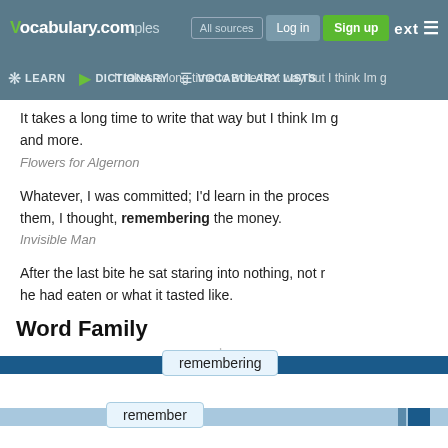Vocabulary.com | Log in | Sign up
LEARN | DICTIONARY | VOCABULARY LISTS
It takes a long time to write that way but I think Im getting better and more.
Flowers for Algernon
Whatever, I was committed; I'd learn in the process them, I thought, remembering the money.
Invisible Man
After the last bite he sat staring into nothing, not r he had eaten or what it tasted like.
The Name of the Wind
Word Family
[Figure (infographic): Word family bar showing 'remembering' chip centered on a dark blue horizontal bar spanning full width]
[Figure (infographic): Word family bar showing 'remember' chip on a light blue horizontal bar with a small dark blue segment on the right]